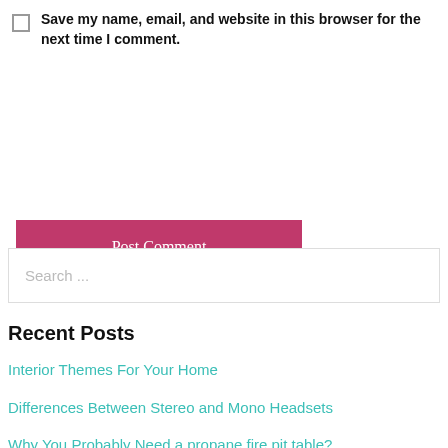Save my name, email, and website in this browser for the next time I comment.
Post Comment
Search ...
Recent Posts
Interior Themes For Your Home
Differences Between Stereo and Mono Headsets
Why You Probably Need a propane fire pit table?
Best Places to Install Your Hidden GPS Tracker
How to Avoid Knife Cuts And Accidents in the Kitchen?